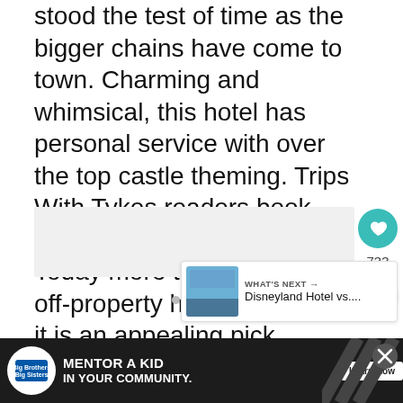stood the test of time as the bigger chains have come to town. Charming and whimsical, this hotel has personal service with over the top castle theming. Trips With Tykes readers book this hotel with Get Away Today more than any other off-property hotel, so I know it is an appealing pick.
[Figure (screenshot): Social media UI elements: heart/like button (teal circle, 733 likes), share button, content image area placeholder, What's Next panel with Disneyland Hotel vs.... label and thumbnail, navigation dots]
[Figure (infographic): Advertisement bar: Big Brothers Big Sisters logo, MENTOR A KID IN YOUR COMMUNITY. text, Learn How button, diagonal pattern elements and X close button]